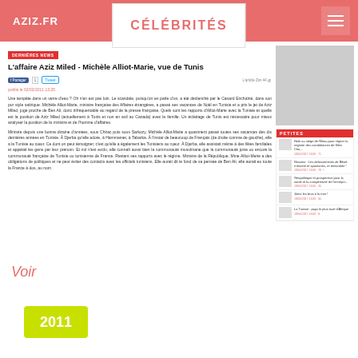AZIZ.FR | CÉLÉBRITÉS
DERNIÈRES NEWS
L'affaire Aziz Miled - Michèle Alliot-Marie, vue de Tunis
publié le 02/02/2011 13:25
Une tempête dans un verre d'eau ? Oh n'en est pas loin. Le scandale, puisqu'on en parle d'un, a été déclenché par le Canard Enchaîné, dans son pur style satirique. Michèle Alliot-Marie, ministre française des Affaires étrangères, a passé ses vacances de Noël en Tunisie et a pris le jet de Aziz Miled, jugé proche de Ben Ali, donc infréquentable au regard de la presse française. Quels sont les rapports d'Alliot-Marie avec la Tunisie et quelle est la position de Aziz Miled (actuellement à Tunis et non en exil au Canada) avec la famille. Un éclairage de Tunis est nécessaire pour mieux analyser la position de la ministre et de l'homme d'affaires. Ministre depuis une bonne dizaine d'années, sous Chirac puis sous Sarkozy, Michèle Alliot-Marie a quasiment passé toutes ses vacances des dix dernières années en Tunisie. À Djerba qu'elle adore, à Hammamet, à Tabarka. À l'instar de beaucoup de Français (de droite comme de gauche), elle a la Tunisie au cœur. Ce dont on peut témoigner, c'est qu'elle a également les Tunisiens au cœur. À Djerba, elle assistait même à des fêtes familiales et appelait les gens par leur prénom. Et nul n'est exclu, elle connaît aussi bien la communauté musulmane que la communauté juive ou encore la communauté française de Tunisie ou tunisienne de France. Restant ses rapports avec le régime. Ministre de la République, Mme Alliot-Marie a des obligations de politiques et ne peut éviter des contacts avec les officiels tunisiens. Elle aurait dit le fond de sa pensée de Ben Ali, elle aurait eu toute la France à dos, au nom
Voir
2011